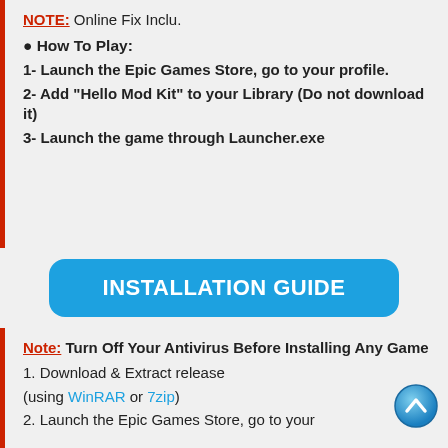NOTE: Online Fix Inclu.
• How To Play:
1- Launch the Epic Games Store, go to your profile.
2- Add "Hello Mod Kit" to your Library (Do not download it)
3- Launch the game through Launcher.exe
INSTALLATION GUIDE
Note: Turn Off Your Antivirus Before Installing Any Game
1. Download & Extract release (using WinRAR or 7zip)
2. Launch the Epic Games Store, go to your